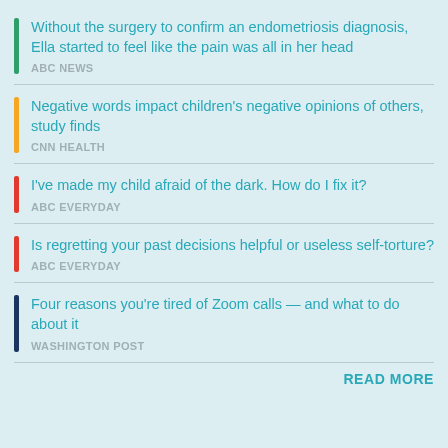Without the surgery to confirm an endometriosis diagnosis, Ella started to feel like the pain was all in her head
ABC NEWS
Negative words impact children's negative opinions of others, study finds
CNN HEALTH
I've made my child afraid of the dark. How do I fix it?
ABC EVERYDAY
Is regretting your past decisions helpful or useless self-torture?
ABC EVERYDAY
Four reasons you're tired of Zoom calls — and what to do about it
WASHINGTON POST
READ MORE